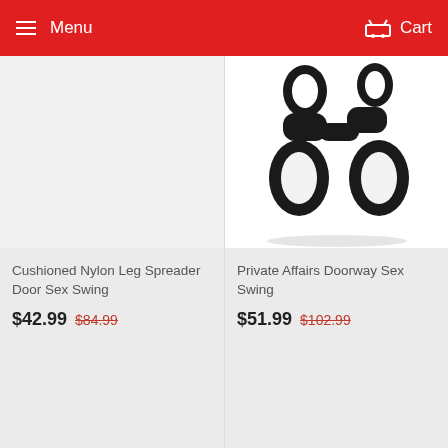Menu  Cart
[Figure (photo): Product image area — left product (Cushioned Nylon Leg Spreader Door Sex Swing) — gray background, no visible product image]
Cushioned Nylon Leg Spreader Door Sex Swing
$42.99  $84.99
[Figure (photo): Product image — black silicone leg spreader / restraint device with loops, shown on white background with reflection]
Private Affairs Doorway Sex Swing
$51.99  $102.99